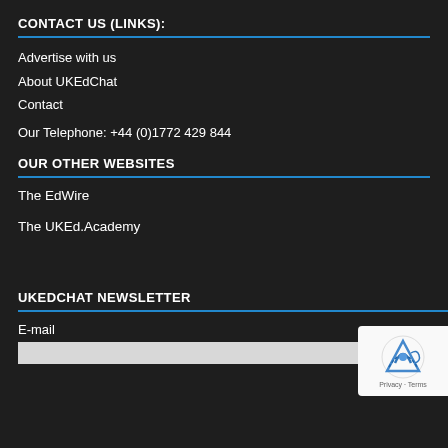CONTACT US (LINKS):
Advertise with us
About UKEdChat
Contact
Our Telephone: +44 (0)1772 429 844
OUR OTHER WEBSITES
The EdWire
The UKEd.Academy
UKEDCHAT NEWSLETTER
E-mail